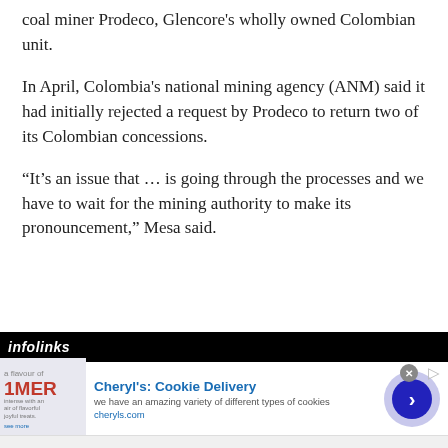coal miner Prodeco, Glencore's wholly owned Colombian unit.
In April, Colombia's national mining agency (ANM) said it had initially rejected a request by Prodeco to return two of its Colombian concessions.
“It’s an issue that … is going through the processes and we have to wait for the mining authority to make its pronouncement,” Mesa said.
[Figure (other): Infolinks advertisement banner for Cheryl's Cookie Delivery showing cookie product image, ad title, subtitle text 'we have an amazing variety of different types of cookies', URL cheryls.com, and a blue arrow button]